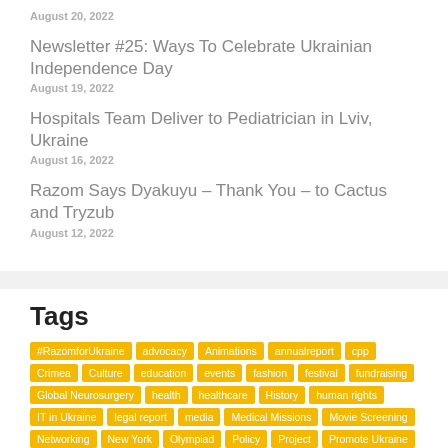August 20, 2022
Newsletter #25: Ways To Celebrate Ukrainian Independence Day
August 19, 2022
Hospitals Team Deliver to Pediatrician in Lviv, Ukraine
August 16, 2022
Razom Says Dyakuyu – Thank You – to Cactus and Tryzub
August 12, 2022
Tags
#RazomforUkraine, advocacy, Animations, annualreport, cpp, Crimea, Culture, education, events, fashion, festival, fundraising, Global Neurosurgery, health, healthcare, History, human rights, IT in Ukraine, legal report, media, Medical Missions, Movie Screening, Networking, New York, Olympiad, Policy, Project, Promote Ukraine, Razom Community, Razom Culture, Razom Emergency Response, Razom Lounge, Razom Ticket, Report, startups, support Ukrainian